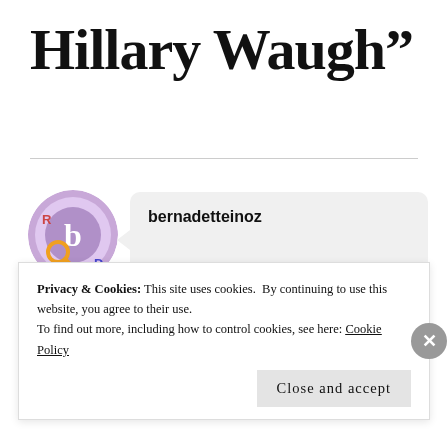Hillary Waugh”
bernadetteinoz
Great post, I am tempted to track down the Hilary Waugh book – good excuse to trawl the local second had
Privacy & Cookies: This site uses cookies. By continuing to use this website, you agree to their use.
To find out more, including how to control cookies, see here: Cookie Policy
Close and accept